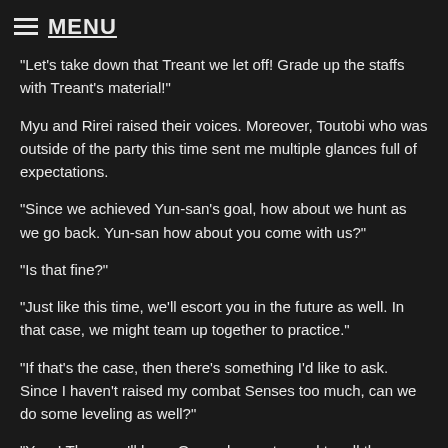MENU
"Let's take down that Treant we let off! Grade up the staffs with Treant's material!"
Myu and Rirei raised their voices. Moreover, Toutobi who was outside of the party this time sent me multiple glances full of expectations.
"Since we achieved Yun-san's goal, how about we hunt as we go back. Yun-san how about you come with us?"
"Is that fine?"
"Just like this time, we'll escort you in the future as well. In that case, we might team up together to practice."
"If that's the case, then there's something I'd like to ask. Since I haven't raised my combat Senses too much, can we do some leveling as well?"
"Yayy! Then, we'll have Onee-chan enter and try all the patterns by fighting Darkman five times more."
Surprised by what Myu suddenly said, I froze.
No way, are we fighting that boss again and repeatedly too?!